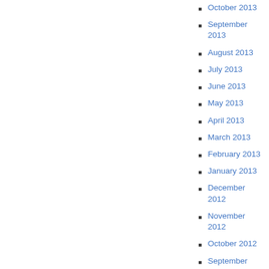October 2013
September 2013
August 2013
July 2013
June 2013
May 2013
April 2013
March 2013
February 2013
January 2013
December 2012
November 2012
October 2012
September 2012